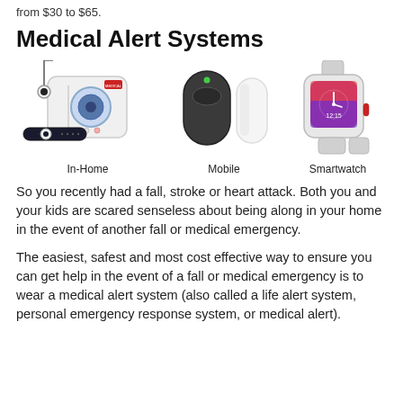from $30 to $65.
Medical Alert Systems
[Figure (illustration): Three types of medical alert systems shown: In-Home (base unit with pendant/necklace and wristband), Mobile (portable oval device with white vertical sensor), and Smartwatch (smartwatch with colorful display and white band)]
In-Home    Mobile    Smartwatch
So you recently had a fall, stroke or heart attack. Both you and your kids are scared senseless about being along in your home in the event of another fall or medical emergency.
The easiest, safest and most cost effective way to ensure you can get help in the event of a fall or medical emergency is to wear a medical alert system (also called a life alert system, personal emergency response system, or medical alert).
There is a wide range...